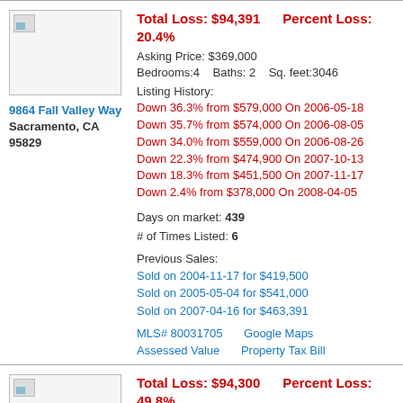Total Loss: $94,391    Percent Loss: 20.4%
Asking Price: $369,000
Bedrooms:4   Baths: 2   Sq. feet:3046
9864 Fall Valley Way
Sacramento, CA 95829
Listing History:
Down 36.3% from $579,000 On 2006-05-18
Down 35.7% from $574,000 On 2006-08-05
Down 34.0% from $559,000 On 2006-08-26
Down 22.3% from $474,900 On 2007-10-13
Down 18.3% from $451,500 On 2007-11-17
Down 2.4% from $378,000 On 2008-04-05
Days on market: 439
# of Times Listed: 6
Previous Sales:
Sold on 2004-11-17 for $419,500
Sold on 2005-05-04 for $541,000
Sold on 2007-04-16 for $463,391
MLS# 80031705   Google Maps
Assessed Value   Property Tax Bill
Total Loss: $94,300    Percent Loss: 49.8%
Asking Price: $94,900
Bedrooms:3   Baths: 1   Sq. feet:1047
Listing History: